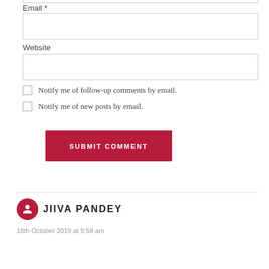Email *
Website
Notify me of follow-up comments by email.
Notify me of new posts by email.
SUBMIT COMMENT
JIIVA PANDEY
18th October 2019 at 9:58 am